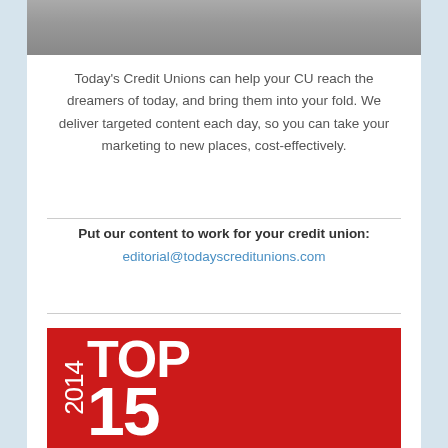[Figure (photo): Partial photo strip at top showing a street scene with people, a white bench, and figures in background]
Today's Credit Unions can help your CU reach the dreamers of today, and bring them into your fold. We deliver targeted content each day, so you can take your marketing to new places, cost-effectively.
Put our content to work for your credit union: editorial@todayscreditunions.com
[Figure (logo): Red square badge with white text reading '2014 TOP 15']